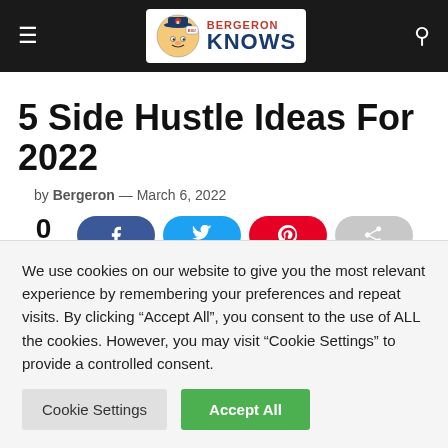Bergeron Knows
5 Side Hustle Ideas For 2022
by Bergeron — March 6, 2022
0 SHARES
When you need extra cash to supplement your
We use cookies on our website to give you the most relevant experience by remembering your preferences and repeat visits. By clicking "Accept All", you consent to the use of ALL the cookies. However, you may visit "Cookie Settings" to provide a controlled consent.